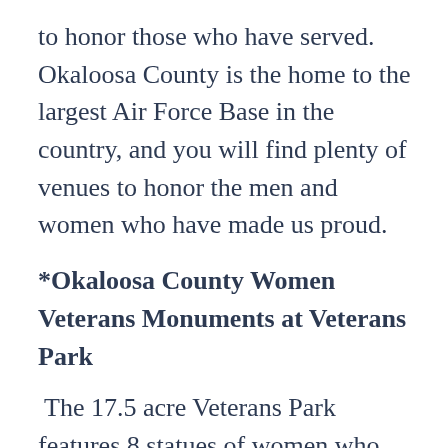to honor those who have served.  Okaloosa County is the home to the largest Air Force Base in the country, and you will find plenty of venues to honor the men and women who have made us proud.
*Okaloosa County Women Veterans Monuments at Veterans Park
The 17.5 acre Veterans Park features 8 statues of women who have sacrificed for our country. The park was dedicated on November 11, 2021, and is a one-of-a-kind memorial that pays tribute to women who have served. The journey through the park allows visitors to take a step back in time to memorialize those